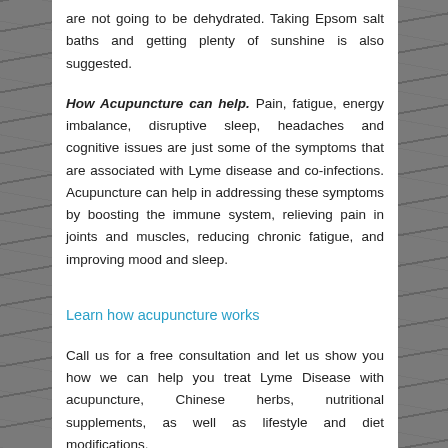are not going to be dehydrated. Taking Epsom salt baths and getting plenty of sunshine is also suggested.
How Acupuncture can help. Pain, fatigue, energy imbalance, disruptive sleep, headaches and cognitive issues are just some of the symptoms that are associated with Lyme disease and co-infections. Acupuncture can help in addressing these symptoms by boosting the immune system, relieving pain in joints and muscles, reducing chronic fatigue, and improving mood and sleep.
Learn how acupuncture works
Call us for a free consultation and let us show you how we can help you treat Lyme Disease with acupuncture, Chinese herbs, nutritional supplements, as well as lifestyle and diet modifications.